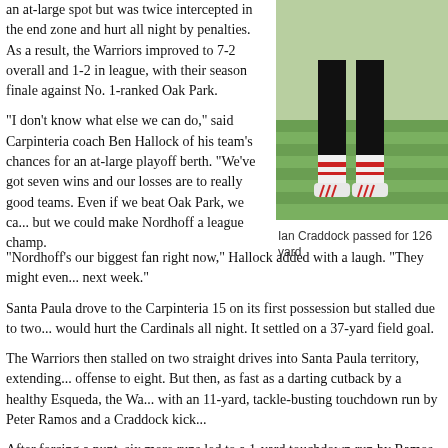an at-large spot but was twice intercepted in the end zone and hurt all night by penalties. As a result, the Warriors improved to 7-2 overall and 1-2 in league, with their season finale against No. 1-ranked Oak Park.
[Figure (photo): Legs of a football player wearing white cleats and red-striped socks on a grass field]
Ian Craddock passed for 126 yard
"I don't know what else we can do," said Carpinteria coach Ben Hallock of his team's chances for an at-large playoff berth. "We've got seven wins and our losses are to really good teams. Even if we beat Oak Park, we ca... but we could make Nordhoff a league champ.
"Nordhoff's our biggest fan right now," Hallock added with a laugh. "They might even... next week."
Santa Paula drove to the Carpinteria 15 on its first possession but stalled due to two... would hurt the Cardinals all night. It settled on a 37-yard field goal.
The Warriors then stalled on two straight drives into Santa Paula territory, extending... offense to eight. But then, as fast as a darting cutback by a healthy Esqueda, the Wa... with an 11-yard, tackle-busting touchdown run by Peter Ramos and a Craddock kick...
After forcing a punt, six more runs led to a 1-yard touchdown run by Ramos with 2:48...